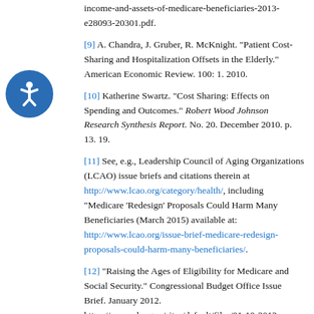income-and-assets-of-medicare-beneficiaries-2013-e28093-20301.pdf.
[9] A. Chandra, J. Gruber, R. McKnight. "Patient Cost-Sharing and Hospitalization Offsets in the Elderly." American Economic Review. 100: 1. 2010.
[10] Katherine Swartz. "Cost Sharing: Effects on Spending and Outcomes." Robert Wood Johnson Research Synthesis Report. No. 20. December 2010. p. 13. 19.
[11] See, e.g., Leadership Council of Aging Organizations (LCAO) issue briefs and citations therein at http://www.lcao.org/category/health/, including "Medicare 'Redesign' Proposals Could Harm Many Beneficiaries (March 2015) available at: http://www.lcao.org/issue-brief-medicare-redesign-proposals-could-harm-many-beneficiaries/.
[12] "Raising the Ages of Eligibility for Medicare and Social Security." Congressional Budget Office Issue Brief. January 2012. https://www.cbo.gov/sites/default/files/01-10-2012-Medicare_SS_EligibilityAgesBrief.pdf. p. 7.
[13] Paul N. Van de Water. "Raising Medicare's Eligibility Age Would